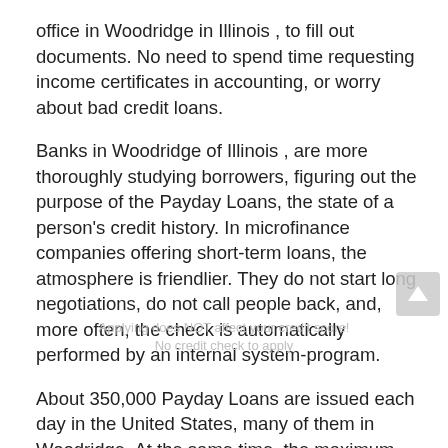office in Woodridge in Illinois , to fill out documents. No need to spend time requesting income certificates in accounting, or worry about bad credit loans.
Banks in Woodridge of Illinois , are more thoroughly studying borrowers, figuring out the purpose of the Payday Loans, the state of a person's credit history. In microfinance companies offering short-term loans, the atmosphere is friendlier. They do not start long negotiations, do not call people back, and, more often, the check is automatically performed by an internal system-program.
About 350,000 Payday Loans are issued each day in the United States, many of them in Woodridge. At the same time, the maximum interest rates in the United States can reach up to 3% per day. The average microfinance loan in the United States is $ 9,732, ten times the average Payday Loans in developing countries
Americans take Payday Loans to earn. Small business